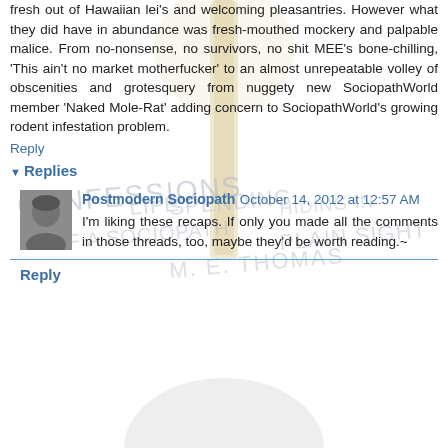fresh out of Hawaiian lei's and welcoming pleasantries. However what they did have in abundance was fresh-mouthed mockery and palpable malice. From no-nonsense, no survivors, no shit MEE's bone-chilling, 'This ain't no market motherfucker' to an almost unrepeatable volley of obscenities and grotesquery from nuggety new SociopathWorld member 'Naked Mole-Rat' adding concern to SociopathWorld's growing rodent infestation problem.
Reply
Replies
[Figure (photo): Small black and white avatar photo of a person]
Postmodern Sociopath October 14, 2012 at 12:57 AM
I'm liking these recaps. If only you made all the comments in those threads, too, maybe they'd be worth reading.~
Reply